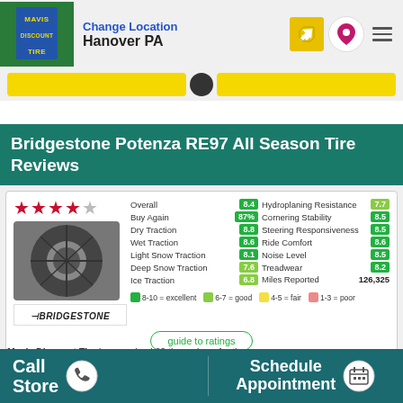Mavis Discount Tire — Change Location — Hanover PA
Bridgestone Potenza RE97 All Season Tire Reviews
| Category | Score | Category | Score |
| --- | --- | --- | --- |
| Overall | 8.4 | Hydroplaning Resistance | 7.7 |
| Buy Again | 87% | Cornering Stability | 8.5 |
| Dry Traction | 8.8 | Steering Responsiveness | 8.5 |
| Wet Traction | 8.6 | Ride Comfort | 8.6 |
| Light Snow Traction | 8.1 | Noise Level | 8.5 |
| Deep Snow Traction | 7.6 | Treadwear | 8.2 |
| Ice Traction | 6.8 | Miles Reported | 126,325 |
8-10 = excellent  6-7 = good  4-5 = fair  1-3 = poor
guide to ratings
Mavis Discount Tire has received 33 tire reviews for the Bridgestone Potenza RE97 All Season Tire, with 87% of the
Call Store   Schedule Appointment